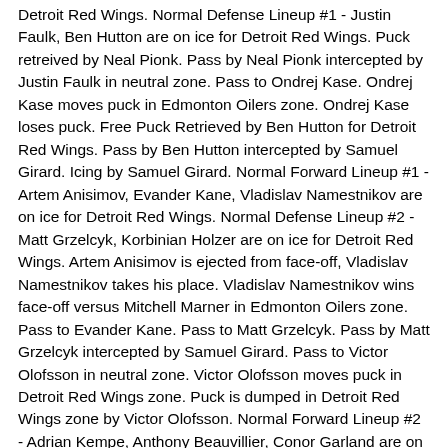Detroit Red Wings. Normal Defense Lineup #1 - Justin Faulk, Ben Hutton are on ice for Detroit Red Wings. Puck retreived by Neal Pionk. Pass by Neal Pionk intercepted by Justin Faulk in neutral zone. Pass to Ondrej Kase. Ondrej Kase moves puck in Edmonton Oilers zone. Ondrej Kase loses puck. Free Puck Retrieved by Ben Hutton for Detroit Red Wings. Pass by Ben Hutton intercepted by Samuel Girard. Icing by Samuel Girard. Normal Forward Lineup #1 - Artem Anisimov, Evander Kane, Vladislav Namestnikov are on ice for Detroit Red Wings. Normal Defense Lineup #2 - Matt Grzelcyk, Korbinian Holzer are on ice for Detroit Red Wings. Artem Anisimov is ejected from face-off, Vladislav Namestnikov takes his place. Vladislav Namestnikov wins face-off versus Mitchell Marner in Edmonton Oilers zone. Pass to Evander Kane. Pass to Matt Grzelcyk. Pass by Matt Grzelcyk intercepted by Samuel Girard. Pass to Victor Olofsson in neutral zone. Victor Olofsson moves puck in Detroit Red Wings zone. Puck is dumped in Detroit Red Wings zone by Victor Olofsson. Normal Forward Lineup #2 - Adrian Kempe, Anthony Beauvillier, Conor Garland are on ice for Edmonton Oilers. Normal Defense Lineup #2 - Filip Hronek, Gustav Forsling are on ice for Edmonton Oilers. Free Puck Retrieved by Michael Hutchinson. Pass to Vladislav Namestnikov. Pass to Matt Grzelcyk in neutral zone. Matt Grzelcyk moves puck in Edmonton Oilers zone. Matt Grzelcyk loses puck. Free Puck Retrieved by Filip Hronek for Edmonton Oilers. Pass to Anthony Beauvillier in neutral zone. Pass to Conor Garland in Detroit Red Wings zone.